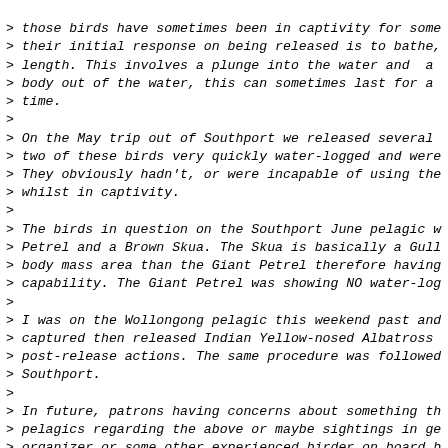> those birds have sometimes been in captivity for some
> their initial response on being released is to bathe,
> length. This involves a plunge into the water and a
> body out of the water, this can sometimes last for a
> time.
>
> On the May trip out of Southport we released several
> two of these birds very quickly water-logged and were
> They obviously hadn't, or were incapable of using the
> whilst in captivity.
>
> The birds in question on the Southport June pelagic w
> Petrel and a Brown Skua. The Skua is basically a Gull
> body mass area than the Giant Petrel therefore having
> capability. The Giant Petrel was showing NO water-log
>
> I was on the Wollongong pelagic this weekend past and
> captured then released Indian Yellow-nosed Albatross
> post-release actions. The same procedure was followed
> Southport.
>
> In future, patrons having concerns about something th
> pelagics regarding the above or maybe sightings in ge
> organizer or some other experienced birder on board b
> erroneous statements through channels such as Birding
> Cheers - Paul Walbridge.
I can't recall anyone else sending in a report of that
comments refer to the item I posted - which I have appe
said: